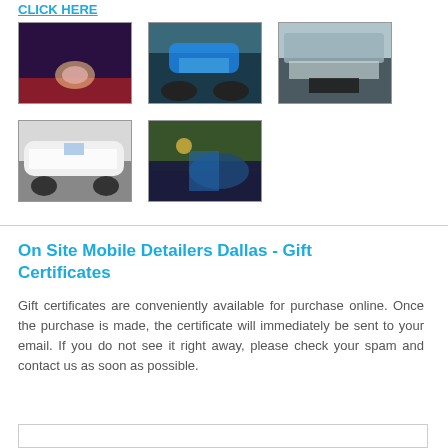CLICK HERE
[Figure (photo): Thumbnail photo 1: person holding a pink piggy bank on red surface]
[Figure (photo): Thumbnail photo 2: blue motorcycle close-up]
[Figure (photo): Thumbnail photo 3: boat deck and windshield]
[Figure (photo): Thumbnail photo 4: white van parked outdoors]
[Figure (photo): Thumbnail photo 5: person detailing a motorcycle]
On Site Mobile Detailers Dallas - Gift Certificates
Gift certificates are conveniently available for purchase online. Once the purchase is made, the certificate will immediately be sent to your email. If you do not see it right away, please check your spam and contact us as soon as possible.